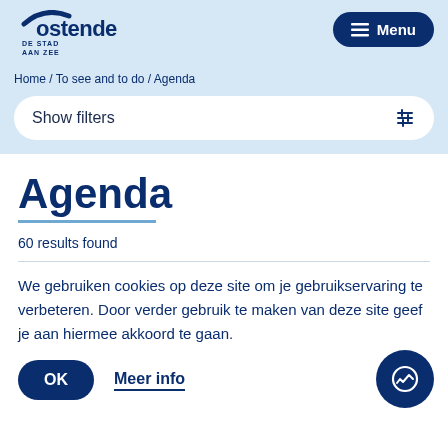[Figure (logo): Oostende city logo - De Stad Aan Zee]
Menu
Home / To see and to do / Agenda
Show filters
Agenda
60 results found
We gebruiken cookies op deze site om je gebruikservaring te verbeteren. Door verder gebruik te maken van deze site geef je aan hiermee akkoord te gaan.
OK
Meer info